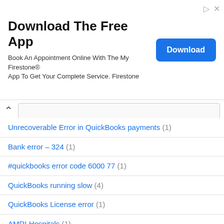[Figure (screenshot): Advertisement banner: 'Download The Free App' with blue Download button. Book An Appointment Online With The My Firestone App To Get Your Complete Service. Firestone]
Unrecoverable Error in QuickBooks payments (1)
Bank error – 324 (1)
#quickbooks error code 6000 77 (1)
QuickBooks running slow (4)
QuickBooks License error (1)
AMRI Hospitals (1)
Air freight cargo (2)
Julie Andrews (1)
Erykah Badu (1)
QuickBooks Email Outlook is not Responding (2)
Error message code 80070057 (1)